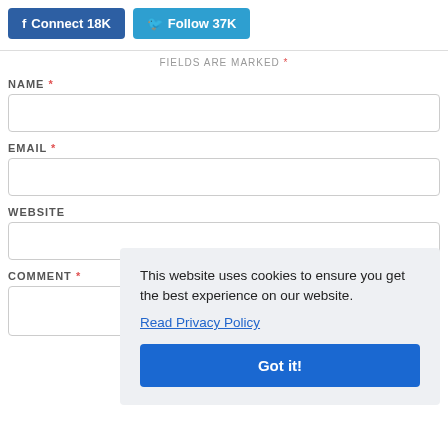[Figure (screenshot): Facebook Connect 18K button (dark blue) and Twitter Follow 37K button (light blue)]
FIELDS ARE MARKED *
NAME *
[Figure (other): Empty text input field for NAME]
EMAIL *
[Figure (other): Empty text input field for EMAIL]
WEBSITE
[Figure (other): Partial text input field for WEBSITE]
COMMENT *
[Figure (other): Partial textarea for COMMENT]
This website uses cookies to ensure you get the best experience on our website. Read Privacy Policy Got it!